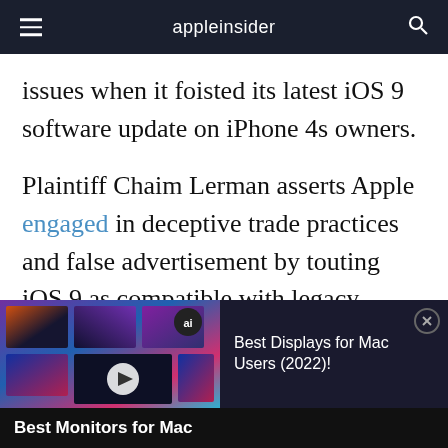appleinsider
issues when it foisted its latest iOS 9 software update on iPhone 4s owners.
Plaintiff Chaim Lerman asserts Apple engaged in deceptive trade practices and false advertisement by touting iOS 9 as compatible with legacy handsets dating back to iPhone 4s models. In actuality, the complaint reads, iOS 9 significantly interferes with iPhone 4s
[Figure (screenshot): Advertisement banner for 'Best Displays for Mac Users (2022)!' showing a grid of monitors against a colorful background, with an AppleInsider 'ai' badge, a close button, and a bottom label 'Best Monitors for Mac']